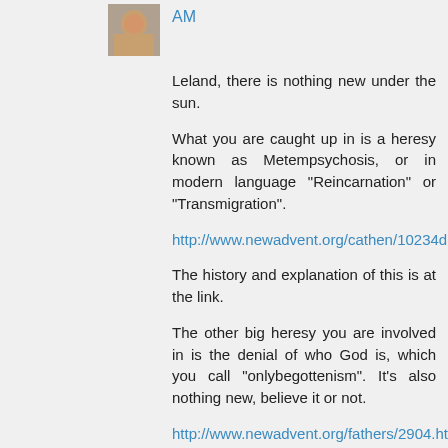[Figure (photo): Small avatar photo of a person]
AM
Leland, there is nothing new under the sun.
What you are caught up in is a heresy known as Metempsychosis, or in modern language "Reincarnation" or "Transmigration".
http://www.newadvent.org/cathen/10234d.htm
The history and explanation of this is at the link.
The other big heresy you are involved in is the denial of who God is, which you call "onlybegottenism". It's also nothing new, believe it or not.
http://www.newadvent.org/fathers/2904.htm
http://www.newadvent.org/summa/1032.htm
Many people who preach reincarnation have some favorite bad habit they don't want to give